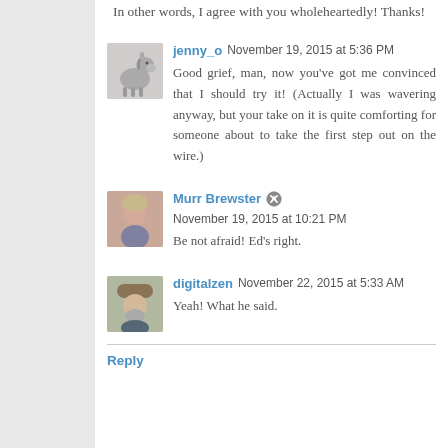In other words, I agree with you wholeheartedly! Thanks!
jenny_o  November 19, 2015 at 5:36 PM
Good grief, man, now you've got me convinced that I should try it! (Actually I was wavering anyway, but your take on it is quite comforting for someone about to take the first step out on the wire.)
Murr Brewster  November 19, 2015 at 10:21 PM
Be not afraid! Ed's right.
digitalzen  November 22, 2015 at 5:33 AM
Yeah! What he said.
Reply